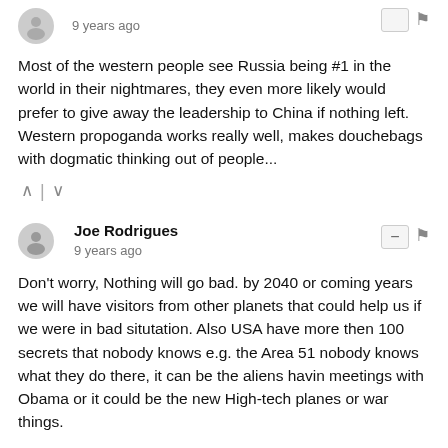9 years ago
Most of the western people see Russia being #1 in the world in their nightmares, they even more likely would prefer to give away the leadership to China if nothing left. Western propoganda works really well, makes douchebags with dogmatic thinking out of people...
Joe Rodrigues
9 years ago
Don't worry, Nothing will go bad. by 2040 or coming years we will have visitors from other planets that could help us if we were in bad situtation. Also USA have more then 100 secrets that nobody knows e.g. the Area 51 nobody knows what they do there, it can be the aliens havin meetings with Obama or it could be the new High-tech planes or war things.
lol
10 years ago
This article suggests that there would be no major war for the next 90 years simply impossible and canada??if 300 million americans